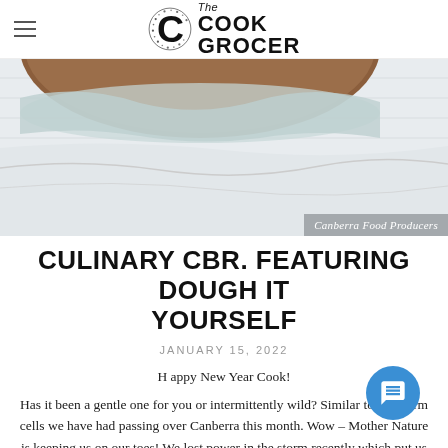The Cook Grocer
[Figure (photo): Close-up photo of a baked good (appears to be a cake or bread) on a white cloth/towel, with a tag overlay reading 'Canberra Food Producers']
CULINARY CBR. FEATURING DOUGH IT YOURSELF
JANUARY 15, 2022
H appy New Year Cook!
Has it been a gentle one for you or intermittently wild? Similar to the storm cells we have had passing over Canberra this month. Wow – Mother Nature is keeping us on our toes! We lost power in the storm recently which put us into monitor mode for all our fridges, we [...]